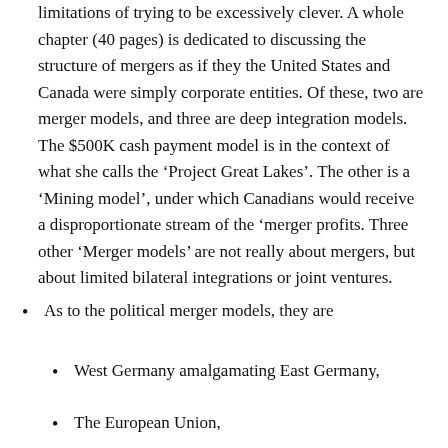limitations of trying to be excessively clever. A whole chapter (40 pages) is dedicated to discussing the structure of mergers as if they the United States and Canada were simply corporate entities. Of these, two are merger models, and three are deep integration models. The $500K cash payment model is in the context of what she calls the ‘Project Great Lakes’. The other is a ‘Mining model’, under which Canadians would receive a disproportionate stream of the ‘merger profits. Three other ‘Merger models’ are not really about mergers, but about limited bilateral integrations or joint ventures.
As to the political merger models, they are
West Germany amalgamating East Germany,
The European Union,